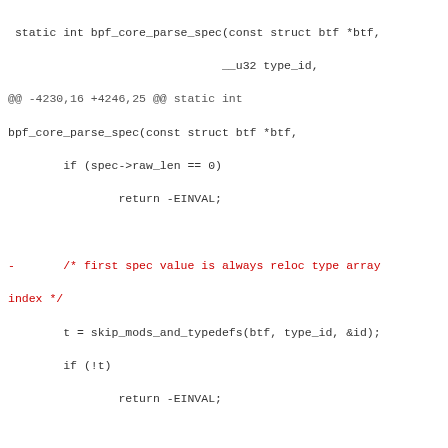static int bpf_core_parse_spec(const struct btf *btf,
                               __u32 type_id,
@@ -4230,16 +4246,25 @@ static int
bpf_core_parse_spec(const struct btf *btf,
        if (spec->raw_len == 0)
                return -EINVAL;

-       /* first spec value is always reloc type array
index */
        t = skip_mods_and_typedefs(btf, type_id, &id);
        if (!t)
                return -EINVAL;

        access_idx = spec->raw_spec[0];
-       spec->spec[0].type_id = id;
-       spec->spec[0].idx = access_idx;
+       acc = &spec->spec[0];
+       acc->type_id = id;
+       acc->idx = access_idx;
        spec->len++;

+       if (core_relo_is_enumval_based(relo_kind)) {
+               if (!btf_is_enum(t) || spec->raw_len >
1 || access_idx >= btf_vlen(t))
+                       return -EINVAL;
+
+               /* record enumerator name in a first
accessor */
+               acc->name = btf__name_by_offset(btf,
btf_enum(t)[access_idx].name_off);